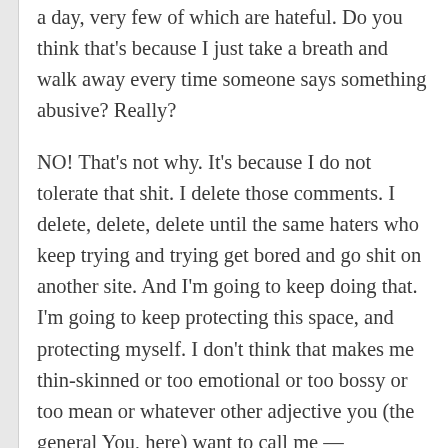a day, very few of which are hateful. Do you think that's because I just take a breath and walk away every time someone says something abusive? Really?
NO! That's not why. It's because I do not tolerate that shit. I delete those comments. I delete, delete, delete until the same haters who keep trying and trying get bored and go shit on another site. And I'm going to keep doing that. I'm going to keep protecting this space, and protecting myself. I don't think that makes me thin-skinned or too emotional or too bossy or too mean or whatever other adjective you (the general You, here) want to call me — adjectives, by the way, I highly
doubt would be attributed to me if I were a man.